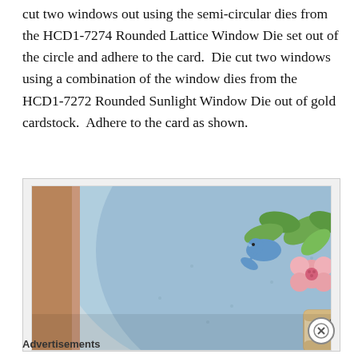cut two windows out using the semi-circular dies from the HCD1-7274 Rounded Lattice Window Die set out of the circle and adhere to the card.  Die cut two windows using a combination of the window dies from the HCD1-7272 Rounded Sunlight Window Die out of gold cardstock.  Adhere to the card as shown.
[Figure (photo): Close-up photo of a handmade greeting card featuring blue birds, pink flowers, and green leaves arranged on a light blue circular background. A banner at the bottom reads 'thinking of you today'.]
Advertisements